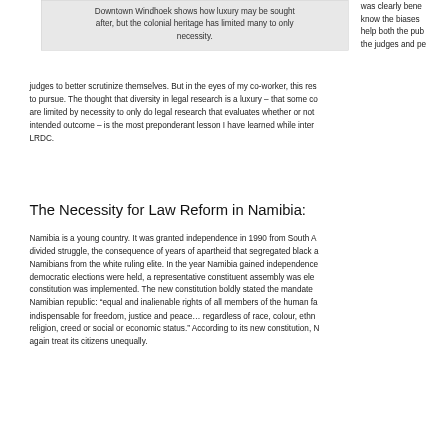[Figure (other): Gray box with caption text about Downtown Windhoek showing luxury vs necessity and colonial heritage]
Downtown Windhoek shows how luxury may be sought after, but the colonial heritage has limited many to only necessity.
was clearly bene know the biases help both the pub the judges and pe judges to better scrutinize themselves. But in the eyes of my co-worker, this res to pursue. The thought that diversity in legal research is a luxury – that some co are limited by necessity to only do legal research that evaluates whether or not intended outcome – is the most preponderant lesson I have learned while inter LRDC.
The Necessity for Law Reform in Namibia:
Namibia is a young country. It was granted independence in 1990 from South A divided struggle, the consequence of years of apartheid that segregated black a Namibians from the white ruling elite. In the year Namibia gained independence democratic elections were held, a representative constituent assembly was ele constitution was implemented. The new constitution boldly stated the mandate Namibian republic: "equal and inalienable rights of all members of the human fa indispensable for freedom, justice and peace… regardless of race, colour, ethn religion, creed or social or economic status." According to its new constitution, N again treat its citizens unequally.